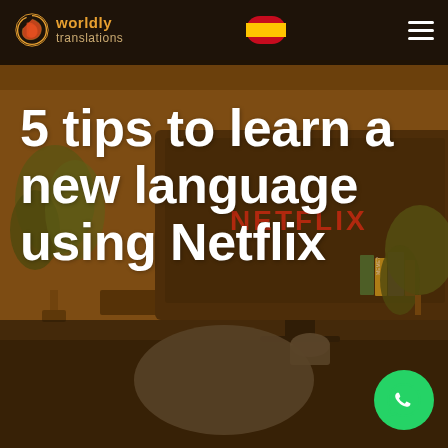[Figure (photo): Background photo of a person watching Netflix on a TV in a warm-toned living room setting, with a plant and books visible]
worldly translations
5 tips to learn a new language using Netflix
[Figure (logo): WhatsApp contact button (green circle with phone/chat icon) in bottom right corner]